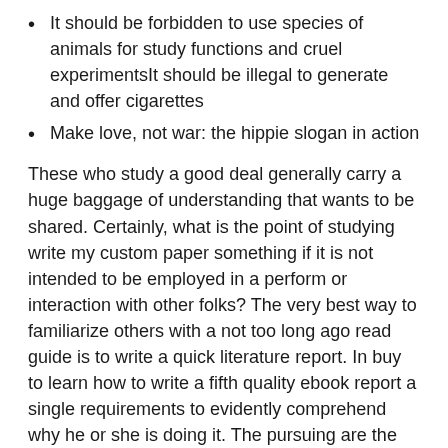It should be forbidden to use species of animals for study functions and cruel experimentsIt should be illegal to generate and offer cigarettes
Make love, not war: the hippie slogan in action
These who study a good deal generally carry a huge baggage of understanding that wants to be shared. Certainly, what is the point of studying write my custom paper something if it is not intended to be employed in a perform or interaction with other folks? The very best way to familiarize others with a not too long ago read guide is to write a quick literature report. In buy to learn how to write a fifth quality ebook report a single requirements to evidently comprehend why he or she is doing it. The pursuing are the typical reasons producing men and women want to compose a sustained e-book report:
OUR Aid IN ASSIGNMENT Producing
As I have pointed out before, infections boost blood glucose…